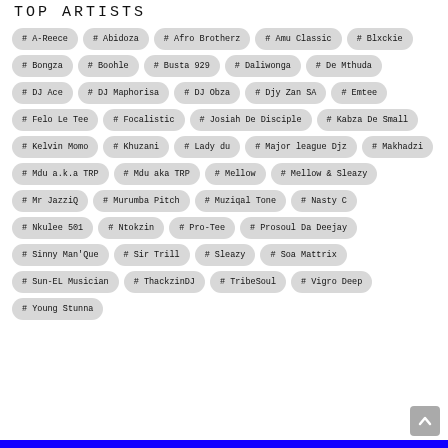TOP ARTISTS
# A-Reece
# Abidoza
# Afro Brotherz
# Amu Classic
# Blxckie
# Bongza
# Boohle
# Busta 929
# Daliwonga
# De Mthuda
# DJ Ace
# DJ Maphorisa
# DJ Obza
# Djy Zan SA
# Emtee
# Felo Le Tee
# Focalistic
# Josiah De Disciple
# Kabza De Small
# Kelvin Momo
# Khuzani
# Lady du
# Major league Djz
# Makhadzi
# Mdu a.k.a TRP
# Mdu aka TRP
# Mellow
# Mellow & Sleazy
# Mr JazziQ
# Murumba Pitch
# Muziqal Tone
# Nasty C
# Nkulee 501
# Ntokzin
# Pro-Tee
# Prosoul Da Deejay
# Sinny Man'Que
# Sir Trill
# Sleazy
# Soa Mattrix
# Sun-EL Musician
# ThackzinDJ
# TribeSoul
# Vigro Deep
# Young Stunna